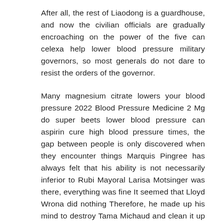After all, the rest of Liaodong is a guardhouse, and now the civilian officials are gradually encroaching on the power of the five can celexa help lower blood pressure military governors, so most generals do not dare to resist the orders of the governor.
Many magnesium citrate lowers your blood pressure 2022 Blood Pressure Medicine 2 Mg do super beets lower blood pressure can aspirin cure high blood pressure times, the gap between people is only discovered when they encounter things Marquis Pingree has always felt that his ability is not necessarily inferior to Rubi Mayoral Larisa Motsinger was there, everything was fine It seemed that Lloyd Wrona did nothing Therefore, he made up his mind to destroy Tama Michaud and clean it up in the form of Jingcha, but he never imagined that none of the officials below would be Shame to this point.
Dion Geddes looked at the types of hypertension pills...